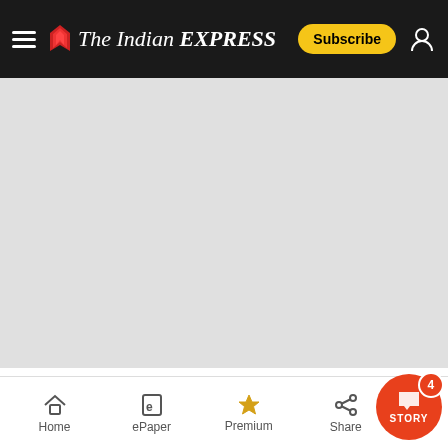The Indian Express — Subscribe
[Figure (photo): Gray placeholder/ad area below the navigation bar]
Article 311 says that no government employ...
Home | ePaper | Premium | Share | STORY